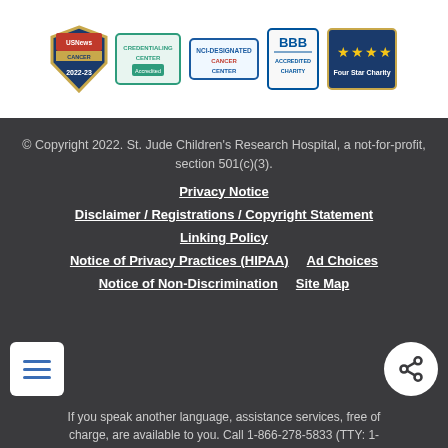[Figure (logo): Row of accreditation and recognition badges: US News Cancer 2022-23, Credentialing Center, NCI Cancer Center, BBB Accredited Charity, Four Star Charity]
© Copyright 2022. St. Jude Children's Research Hospital, a not-for-profit, section 501(c)(3).
Privacy Notice
Disclaimer / Registrations / Copyright Statement
Linking Policy
Notice of Privacy Practices (HIPAA)
Ad Choices
Notice of Non-Discrimination
Site Map
If you speak another language, assistance services, free of charge, are available to you. Call 1-866-278-5833 (TTY: 1-